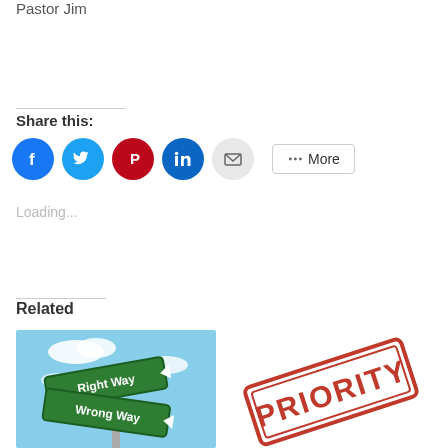Pastor Jim
Share this:
[Figure (other): Social share buttons: Facebook, Twitter, Pinterest, LinkedIn, Email, and More]
Loading...
Related
[Figure (photo): Street sign showing 'Right Way' and 'Wrong Way' against a blue sky]
[Figure (photo): Red rubber stamp reading 'PRIORITY']